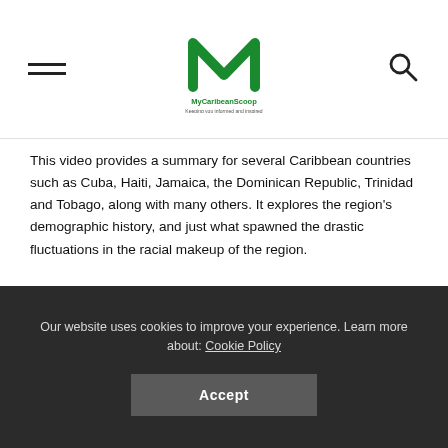[Figure (logo): MyCaribeanScoop website logo — green stylized letter M with site name below]
This video provides a summary for several Caribbean countries such as Cuba, Haiti, Jamaica, the Dominican Republic, Trinidad and Tobago, along with many others. It explores the region's demographic history, and just what spawned the drastic fluctuations in the racial makeup of the region.
The presenter also touches on many of the surrounding areas such as Central America, the Gullah coast, as well as the Guianas of South America. [/vc_column_text][vc_video link="https://www.youtube.com/watch?v=fAZBLzWCUbU" title="Racial Diversity in the Caribbean"] [vc_custom_heading text="What Happened to The Original Caribbean
Our website uses cookies to improve your experience. Learn more about: Cookie Policy
Accept